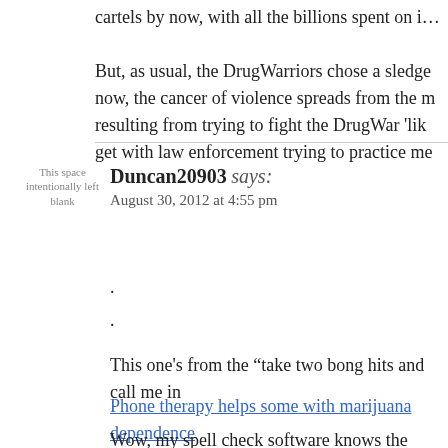cartels by now, with all the billions spent on i…
But, as usual, the DrugWarriors chose a sledge… now, the cancer of violence spreads from the m… resulting from trying to fight the DrugWar 'lik… get with law enforcement trying to practice me…
[Figure (other): Placeholder avatar image with text 'This space intentionally left blank']
Duncan20903 says:
August 30, 2012 at 4:55 pm
.
.
This one's from the "take two bong hits and call me in…
Phone therapy helps some with marijuana dependence
Wow, my spell check software knows the correct spelli…